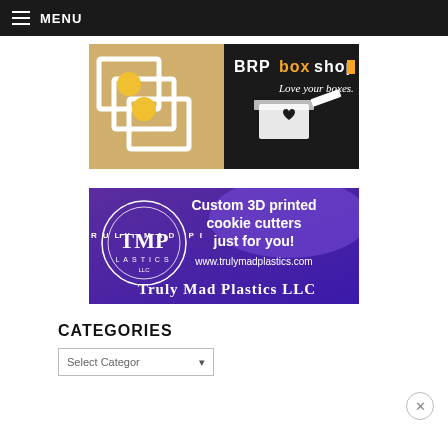☰ MENU
[Figure (photo): BRPboxshop advertisement banner showing decorated cookies in white boxes on the left and a dark background with the BRPboxshop logo and tagline 'Love your boxes.' on the right]
[Figure (photo): Truly Mad Plastics LLC advertisement banner on purple background with circular logo, text 'Custom 3D printed cookie cutters just for you!', website 'www.trulymadplastics.com', and company name in gothic font]
CATEGORIES
Select Category ▾